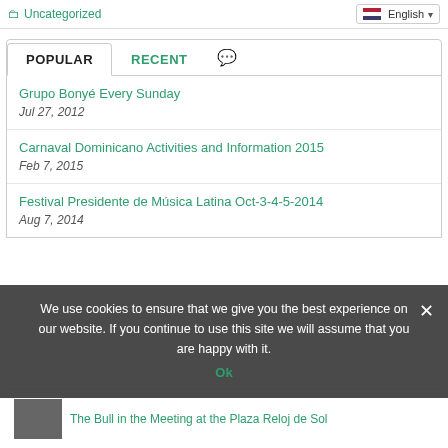Uncategorized
English
POPULAR | RECENT
Grupo Bonyé Every Sunday
Jul 27, 2012
Carnaval Dominicano Activities and Information 2015
Feb 7, 2015
Festival Presidente de Música Latina Oct-3-4-5-2014
Aug 7, 2014
We use cookies to ensure that we give you the best experience on our website. If you continue to use this site we will assume that you are happy with it.
Ok
The Bull in the Meeting at the Plaza Reloj de Sol